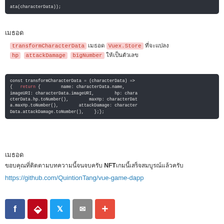ata(characterData));
เมธอด
transformCharacterData เมธอด Vuex.Store ที่จะแปลง hp ‌ attackDamage ‌ bigNumber ให้เป็นตัวเลข
const transformCharacterData = (characterData) => {   return {        name: characterData.name, imageURI: characterData.imageURI,        hp: characterData.hp.toNumber(),        maxHp: characterData.maxHp.toNumber(),        attackDamage: characterData.attackDamage.toNumber(),    };};
เมธอด
ขอบคุณที่ติดตามบทความนี้จนจบครับ NFTเกมนี้เสร็จสมบูรณ์แล้วครับ
https://github.com/QuintionTang/vue-game-dapp
[Figure (infographic): Social sharing buttons: Facebook (blue), Pinterest (red), Twitter (light blue), Email (grey), Plus/more (orange-red)]